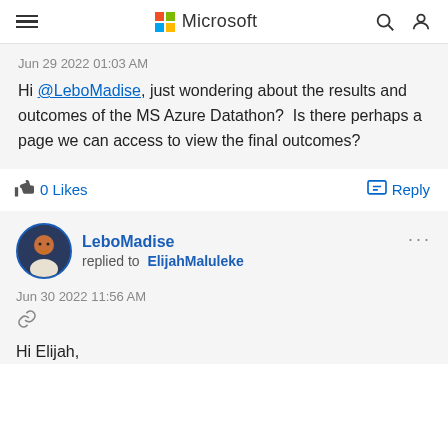Microsoft
Jun 29 2022 01:03 AM
Hi @LeboMadise, just wondering about the results and outcomes of the MS Azure Datathon?  Is there perhaps a page we can access to view the final outcomes?
0 Likes   Reply
LeboMadise replied to ElijahMaluleke
Jun 30 2022 11:56 AM
Hi Elijah,